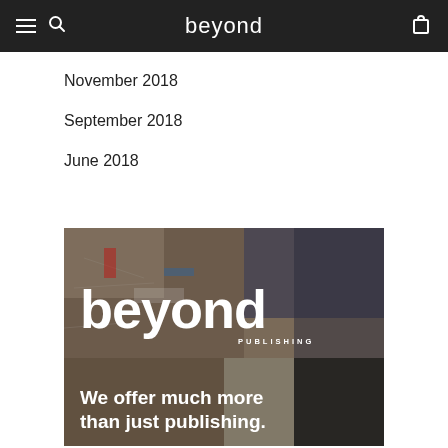beyond
November 2018
September 2018
June 2018
[Figure (photo): Beyond Publishing magazine cover with collage background of layered torn posters, featuring the 'beyond' logo in large white text, 'PUBLISHING' subtitle, and tagline 'We offer much more than just publishing.']